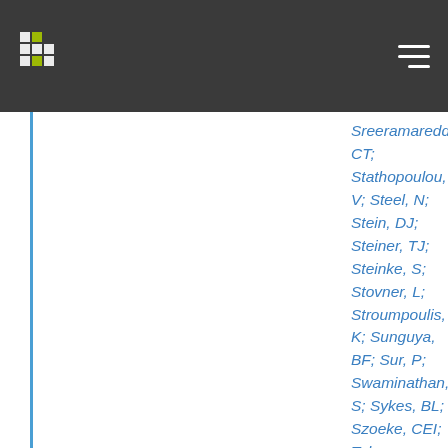Sreeramareddy, CT; Stathopoulou, V; Steel, N; Stein, DJ; Steiner, TJ; Steinke, S; Stovner, L; Stroumpoulis, K; Sunguya, BF; Sur, P; Swaminathan, S; Sykes, BL; Szoeke, CEI; Tabares-Seisdedos, R; Takala, JS; Landon, N; Tanne, D; Tavakkoli, M; Taye, B; Taylor, HR; Te Ao, BJ; Tedla, BA; Terkawi, AS; Thomson, AJ; Thorne-Lyman, AL; Thrift, AG; Thurston, GD; Tobe-Gai, R; Tonelli, M; Topor-